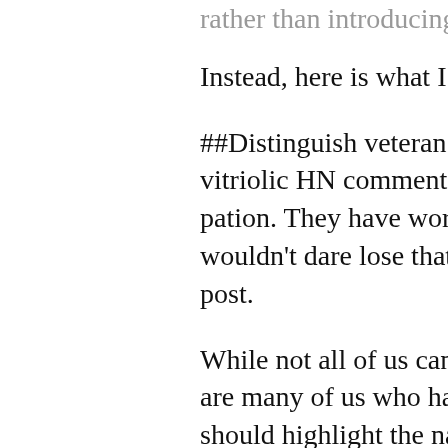rather than introducing myste
Instead, here is what I think woul
##Distinguish veteran users It wo vitriolic HN comment coming fro pation. They have worked for yea wouldn't dare lose that respect by post.
While not all of us can spend the t are many of us who have worked should highlight the names of suc highlights newbies with green.
There are two reasons for this sug to tread carefully before bashing a he/she probably isn't a total idiot